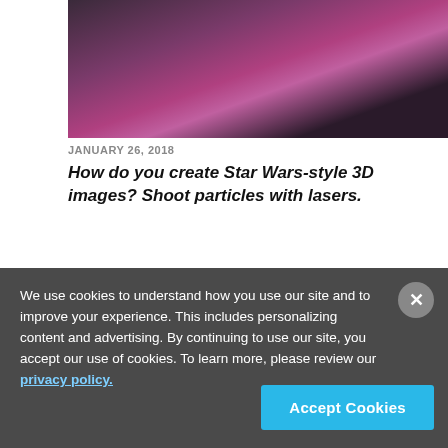[Figure (photo): Dark photo with pink/purple light flare on dark background, partial view of an article thumbnail]
JANUARY 26, 2018
How do you create Star Wars-style 3D images? Shoot particles with lasers.
[Figure (photo): Dark photo showing a device on a dark background, second article thumbnail]
We use cookies to understand how you use our site and to improve your experience. This includes personalizing content and advertising. By continuing to use our site, you accept our use of cookies. To learn more, please review our privacy policy.